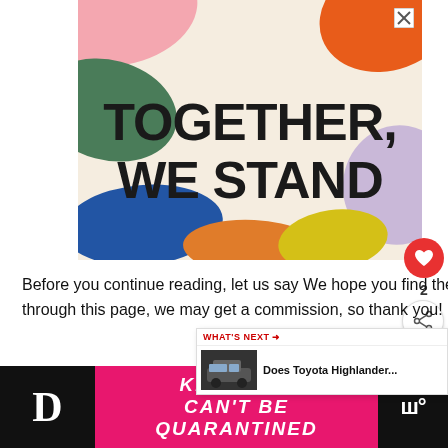[Figure (illustration): Colorful abstract advertisement banner with text 'TOGETHER, WE STAND' in large bold stencil font on a beige/cream background with colorful blobs of pink, green, orange, blue, yellow, and purple.]
[Figure (other): Red circular like/heart button icon]
2
[Figure (other): Share button icon]
Before you continue reading, let us say We hope you find the links here useful. If you purchase something through this page, we may get a commission, so thank you!
[Figure (other): What's Next overlay showing 'Does Toyota Highlander...' with car image]
[Figure (other): Bottom advertisement banner - pink background - 'KINDNESS CAN'T BE QUARANTINED' text in white]